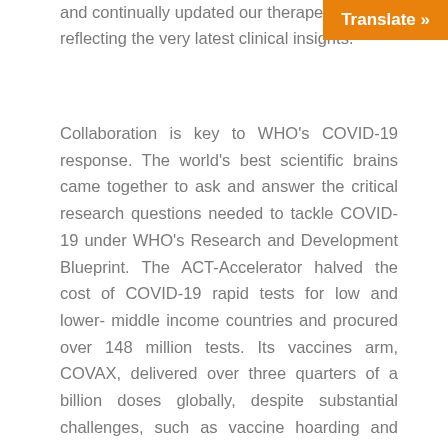and continually updated our therapeutic reflecting the very latest clinical insights.
Collaboration is key to WHO's COVID-19 response. The world's best scientific brains came together to ask and answer the critical research questions needed to tackle COVID-19 under WHO's Research and Development Blueprint. The ACT-Accelerator halved the cost of COVID-19 rapid tests for low and lower-middle income countries and procured over 148 million tests. Its vaccines arm, COVAX, delivered over three quarters of a billion doses globally, despite substantial challenges, such as vaccine hoarding and insufficient transparency from manufacturers. Throughout this uncertain year, we partnered closely with countries on preparing for rollouts.